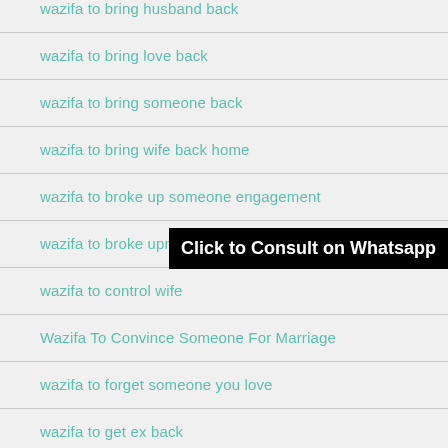wazifa to bring husband back
wazifa to bring love back
wazifa to bring someone back
wazifa to bring wife back home
wazifa to broke up someone engagement
wazifa to broke uprelatio
wazifa to control wife
Wazifa To Convince Someone For Marriage
wazifa to forget someone you love
wazifa to get ex back